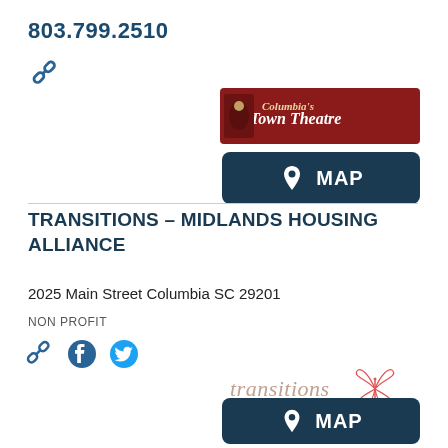803.799.2510
[Figure (other): Chain link icon (website link symbol)]
[Figure (logo): Town Theatre logo - red background with decorative text]
[Figure (other): MAP button - dark navy blue rounded rectangle with location pin icon and text MAP]
TRANSITIONS – MIDLANDS HOUSING ALLIANCE
2025 Main Street Columbia SC 29201
NON PROFIT
[Figure (other): Social media icons: chain link, Facebook, Twitter]
[Figure (logo): Transitions logo with butterfly and tagline 'The Journey Home Begins Here', subtitle 'A program of Midlands Housing Alliance']
[Figure (other): MAP button - dark navy blue rounded rectangle with location pin icon and text MAP]